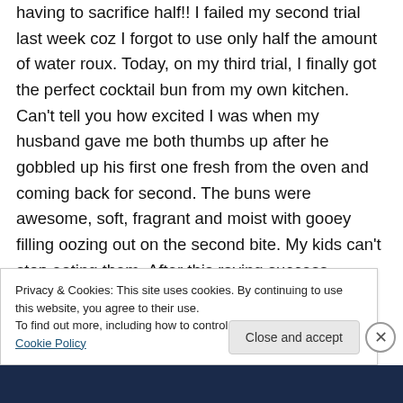having to sacrifice half!! I failed my second trial last week coz I forgot to use only half the amount of water roux. Today, on my third trial, I finally got the perfect cocktail bun from my own kitchen. Can't tell you how excited I was when my husband gave me both thumbs up after he gobbled up his first one fresh from the oven and coming back for second. The buns were awesome, soft, fragrant and moist with gooey filling oozing out on the second bite. My kids can't stop eating them. After this raving success,
Privacy & Cookies: This site uses cookies. By continuing to use this website, you agree to their use.
To find out more, including how to control cookies, see here: Cookie Policy